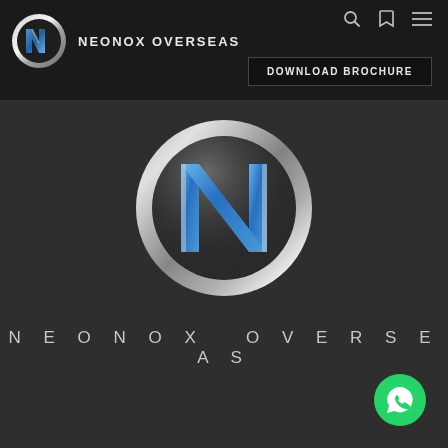[Figure (logo): Neonox Overseas logo in navbar: circular silver 'N' emblem with blue accent]
NEONOX OVERSEAS
DOWNLOAD BROCHURE
[Figure (logo): Large Neonox Overseas logo centered on dark background: silver ring with stylized blue N letter inside]
NEONOX OVERSEAS